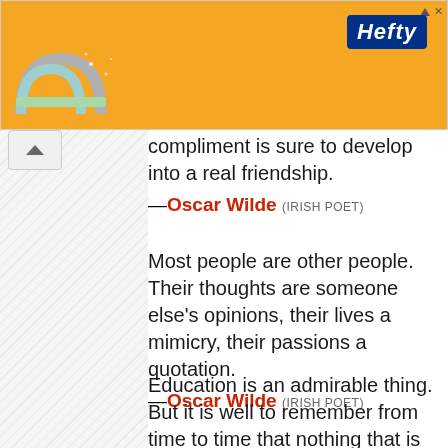[Figure (other): Orange Hefty advertisement banner with logo and decorative elements]
compliment is sure to develop into a real friendship.
—Oscar Wilde (IRISH POET)
Most people are other people. Their thoughts are someone else's opinions, their lives a mimicry, their passions a quotation.
—Oscar Wilde (IRISH POET)
Education is an admirable thing. But it is well to remember from time to time that nothing that is worth knowing can be taught.